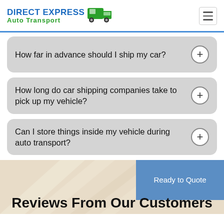[Figure (logo): Direct Express Auto Transport logo with truck icon and hamburger menu icon]
How far in advance should I ship my car?
How long do car shipping companies take to pick up my vehicle?
Can I store things inside my vehicle during auto transport?
Reviews From Our Customers